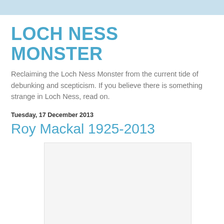LOCH NESS MONSTER
Reclaiming the Loch Ness Monster from the current tide of debunking and scepticism. If you believe there is something strange in Loch Ness, read on.
Tuesday, 17 December 2013
Roy Mackal 1925-2013
[Figure (photo): Image placeholder/photo area below the article title]